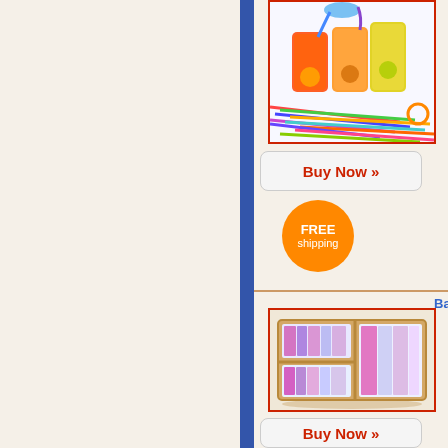[Figure (photo): Product photo: colorful drink pouches with straws and a pile of colorful flexible straws]
[Figure (infographic): Buy Now button with red text on light gray rounded rectangle]
[Figure (infographic): Orange circle badge with white text: FREE shipping]
[Figure (photo): Product photo: bamboo box organizer with colorful silicone bags inside, three compartments]
Ba
[Figure (infographic): Buy Now button with red text on light gray rounded rectangle]